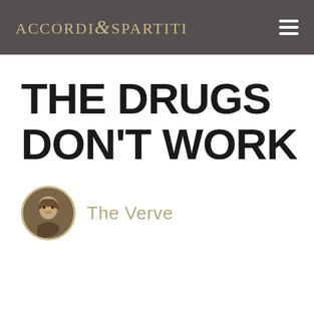ACCORDI & SPARTITI
THE DRUGS DON'T WORK
The Verve